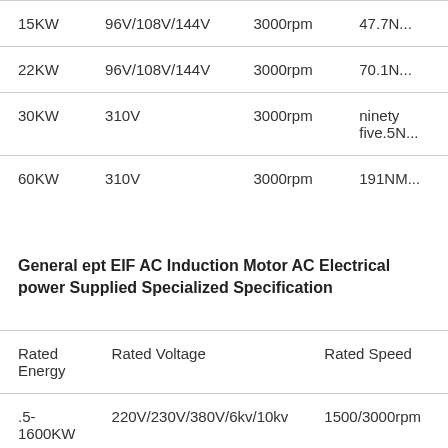| Rated Energy | Rated Voltage | Rated Speed | Rate... |
| --- | --- | --- | --- |
| 15KW | 96V/108V/144V | 3000rpm | 47.7N... |
| 22KW | 96V/108V/144V | 3000rpm | 70.1N... |
| 30KW | 310V | 3000rpm | ninety five.5N... |
| 60KW | 310V | 3000rpm | 191NM... |
General ept EIF AC Induction Motor AC Electrical power Supplied Specialized Specification
| Rated Energy | Rated Voltage | Rated Speed | Rated Freq... |
| --- | --- | --- | --- |
| .5-1600KW | 220V/230V/380V/6kv/10kv | 1500/3000rpm | fifty... |